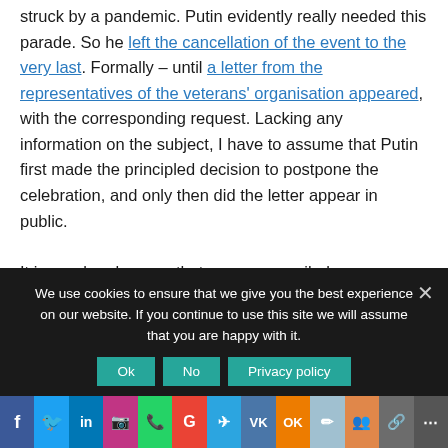struck by a pandemic. Putin evidently really needed this parade. So he left the cancellation of the event to the very last. Formally – until a letter from the representatives of the veterans' organisation appeared, with the corresponding request. Lacking any information on the subject, I have to assume that Putin first made the principled decision to postpone the celebration, and only then did the letter appear in public.

It is good and proper that reason prevailed over ambition, but the pressing problems of the veterans still remain unresolved, and attempts to start a conversation about the unparaded, dark side of war might entail, amongst other things, criminal charges in the course of reviewing its.
We use cookies to ensure that we give you the best experience on our website. If you continue to use this site we will assume that you are happy with it.